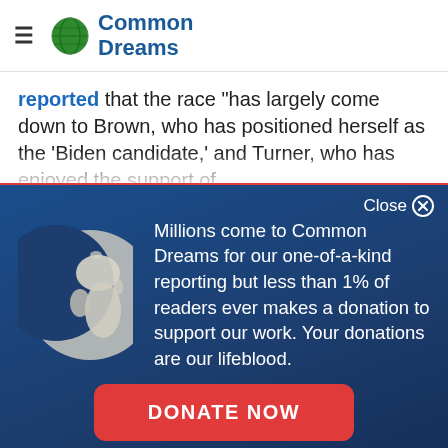Common Dreams
reported that the race "has largely come down to Brown, who has positioned herself as the 'Biden candidate,' and Turner, who has enjoyed the support of
[Figure (screenshot): Common Dreams donation popup overlay with globe icon, white text on blue gradient background, and red DONATE NOW button. Close button in top right. Text: Millions come to Common Dreams for our one-of-a-kind reporting but less than 1% of readers ever makes a donation to support our work. Your donations are our lifeblood.]